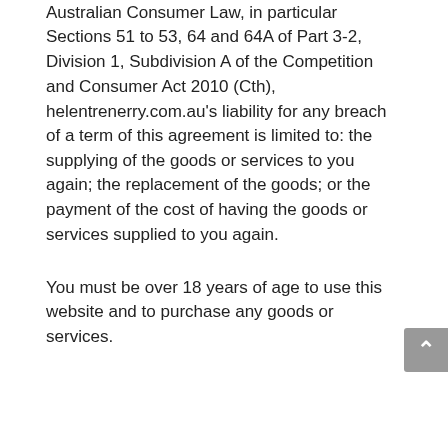Australian Consumer Law, in particular Sections 51 to 53, 64 and 64A of Part 3-2, Division 1, Subdivision A of the Competition and Consumer Act 2010 (Cth), helentrenerry.com.au’s liability for any breach of a term of this agreement is limited to: the supplying of the goods or services to you again; the replacement of the goods; or the payment of the cost of having the goods or services supplied to you again.
You must be over 18 years of age to use this website and to purchase any goods or services.